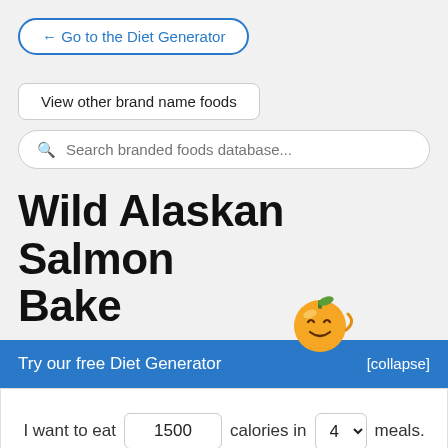← Go to the Diet Generator
View other brand name foods
Search branded foods database...
Wild Alaskan Salmon Bake
Try our free Diet Generator [collapse]
I want to eat 1500 calories in 4 meals.
Generate